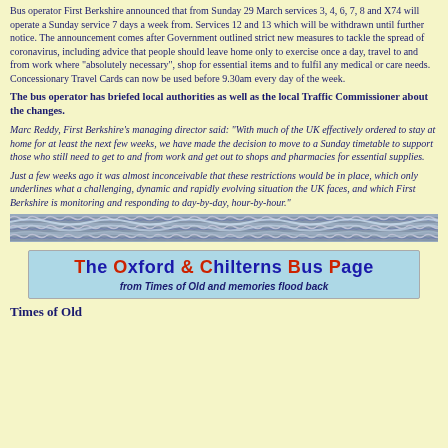Bus operator First Berkshire announced that from Sunday 29 March services 3, 4, 6, 7, 8 and X74 will operate a Sunday service 7 days a week from. Services 12 and 13 which will be withdrawn until further notice. The announcement comes after Government outlined strict new measures to tackle the spread of coronavirus, including advice that people should leave home only to exercise once a day, travel to and from work where "absolutely necessary", shop for essential items and to fulfil any medical or care needs. Concessionary Travel Cards can now be used before 9.30am every day of the week.
The bus operator has briefed local authorities as well as the local Traffic Commissioner about the changes.
Marc Reddy, First Berkshire's managing director said: "With much of the UK effectively ordered to stay at home for at least the next few weeks, we have made the decision to move to a Sunday timetable to support those who still need to get to and from work and get out to shops and pharmacies for essential supplies.
Just a few weeks ago it was almost inconceivable that these restrictions would be in place, which only underlines what a challenging, dynamic and rapidly evolving situation the UK faces, and which First Berkshire is monitoring and responding to day-by-day, hour-by-hour."
[Figure (illustration): Decorative horizontal divider with wavy striped pattern in blue/grey tones]
[Figure (logo): Banner for 'The Oxford & Chilterns Bus Page' with subtitle 'from Times of Old and memories flood back']
Times of Old